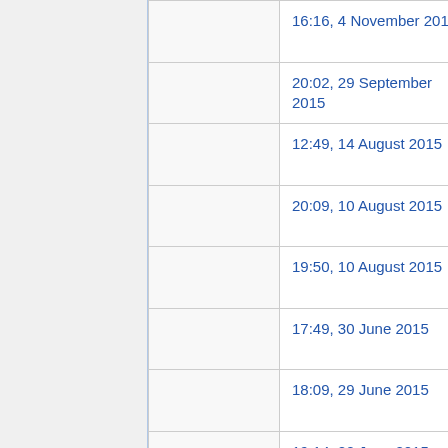| (thumbnail) | Date/Time | Dimensions |
| --- | --- | --- |
|  | 16:16, 4 November 2015 | 0 × 0
(131… |
|  | 20:02, 29 September 2015 | 0 × 0
(131… |
|  | 12:49, 14 August 2015 | 0 × 0
(130… |
|  | 20:09, 10 August 2015 | 0 × 0
(131… |
|  | 19:50, 10 August 2015 | 0 × 0
(131… |
|  | 17:49, 30 June 2015 | 0 × 0
(128… |
|  | 18:09, 29 June 2015 | 0 × 0
(128… |
|  | 19:14, 22 June 2015 | 0 × 0
(128… |
|  | 21:31, 11 June 2015 | 0 × 0 |